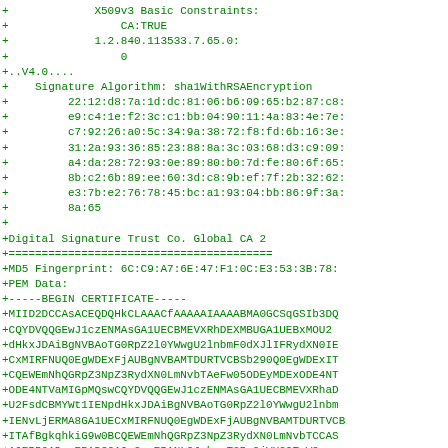+             X509v3 Basic Constraints:
+                 CA:TRUE
+             1.2.840.113533.7.65.0:
+                 0
+..V4.0....
+    Signature Algorithm: sha1WithRSAEncryption
+         22:12:d8:7a:1d:dc:81:06:b6:09:65:b2:87:c8:
+         e9:c4:1e:f2:3c:c1:bb:04:90:11:4a:83:4e:7e:
+         c7:92:26:a0:5c:34:9a:38:72:f8:fd:6b:16:3e:
+         31:2a:93:36:85:23:88:8a:3c:03:68:d3:c9:09:
+         a4:da:28:72:93:0e:89:80:b0:7d:fe:80:6f:65:
+         8b:c2:6b:89:ee:60:3d:c8:9b:ef:7f:2b:32:62:
+         e3:7b:e2:76:78:45:bc:a1:93:04:bb:86:9f:3a:
+         8a:65
+
+Digital Signature Trust Co. Global CA 2
+========================================
+MD5 Fingerprint: 6C:C9:A7:6E:47:F1:0C:E3:53:3B:78:
+PEM Data:
+-----BEGIN CERTIFICATE-----
+MIID2DCCAsACEQDQHkCLAAACfAAAAAIAAAABMA0GCSqGSIb3DQ
+CQYDVQQGEwJ1czENMAsGA1UECBMEVXRhDEXMBUGA1UEBxMOU2
+dHkxJDAiBgNVBAoTG0RpZ2l0YWwgU2lnbmF0dXJlIFRydXN0IE
+CxMIRFNUQ0EgWDExFjAUBgNVBAMTDURTVCBSb290Q0EgWDExIT
+CQEWEmNhQGRpZ3NpZ3RydXN0LmNvbTAeFw05ODEyMDExODE4NT
+ODE4NTVaMIGpMQswCQYDVQQGEwJ1czENMAsGA1UECBMEVXRhaD
+U2FsdCBMYWt1IENpdHkxJDAiBgNVBAoTG0RpZ2l0YWwgU2lnbm
+IENvLjERMA8GA1UECxMIRFNUQ0EgWDExFjAUBgNVBAMTDURTVCB
+ITAfBgkqhkiG9w0BCQEWEmNhQGRpZ3NpZ3RydXN0LmNvbTCCAS
+AQEBBQADggEPADCCAQoCggEBANLGJrbnpT3BxGjVUG9TxW9